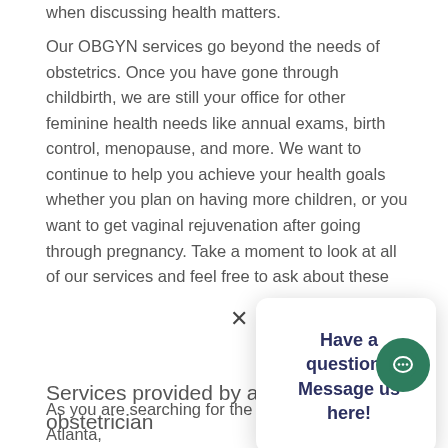when discussing health matters.
Our OBGYN services go beyond the needs of obstetrics. Once you have gone through childbirth, we are still your office for other feminine health needs like annual exams, birth control, menopause, and more. We want to continue to help you achieve your health goals whether you plan on having more children, or you want to get vaginal rejuvenation after going through pregnancy. Take a moment to look at all of our services and feel free to ask about these
Have a question? Message us here!
Services provided by an obstetrician
As you are searching for the best obstetrician in Atlanta,